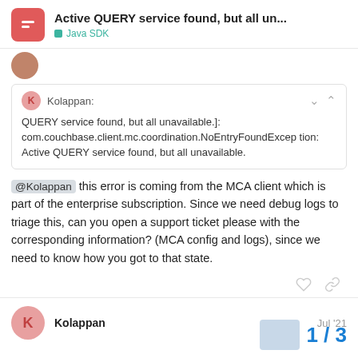Active QUERY service found, but all un... Java SDK
Kolappan: QUERY service found, but all unavailable.]: com.couchbase.client.mc.coordination.NoEntryFoundException: Active QUERY service found, but all unavailable.
@Kolappan this error is coming from the MCA client which is part of the enterprise subscription. Since we need debug logs to triage this, can you open a support ticket please with the corresponding information? (MCA config and logs), since we need to know how you got to that state.
Kolappan Jul '21
1 / 3